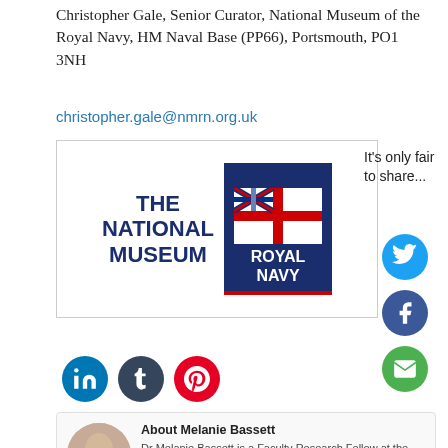Christopher Gale, Senior Curator, National Museum of the Royal Navy, HM Naval Base (PP66), Portsmouth, PO1 3NH
christopher.gale@nmrn.org.uk
[Figure (logo): The National Museum of the Royal Navy logo with navy/white ensign flag badge]
It's only fair to share...
[Figure (other): Social share buttons: Twitter, Facebook, Email, LinkedIn, Tumblr, Pinterest]
About Melanie Bassett
Dr Melanie Bassett is a Faculty Research Fellow at the University of Portsmouth. She manages the